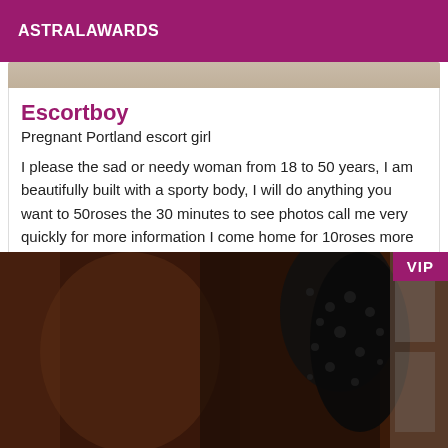ASTRALAWARDS
Escortboy
Pregnant Portland escort girl
I please the sad or needy woman from 18 to 50 years, I am beautifully built with a sporty body, I will do anything you want to 50roses the 30 minutes to see photos call me very quickly for more information I come home for 10roses more
[Figure (photo): Partial photograph with VIP badge in top right corner, showing dark background with black lace lingerie detail]